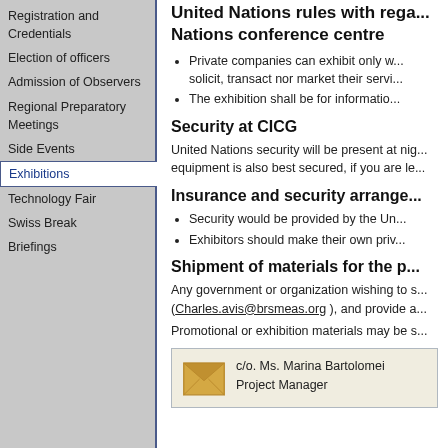Registration and Credentials
Election of officers
Admission of Observers
Regional Preparatory Meetings
Side Events
Exhibitions
Technology Fair
Swiss Break
Briefings
United Nations rules with regard to the United Nations conference centre
Private companies can exhibit only w... solicit, transact nor market their servi...
The exhibition shall be for informatio...
Security at CICG
United Nations security will be present at nig... equipment is also best secured, if you are le...
Insurance and security arrange...
Security would be provided by the Un...
Exhibitors should make their own priv...
Shipment of materials for the p...
Any government or organization wishing to s... (Charles.avis@brsmeas.org), and provide a...
Promotional or exhibition materials may be s...
c/o. Ms. Marina Bartolomei
Project Manager